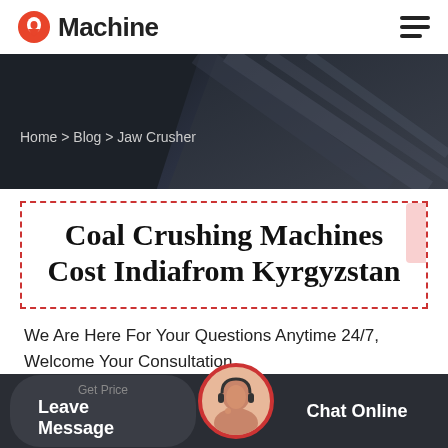Machine
Home > Blog > Jaw Crusher
Coal Crushing Machines Cost Indiafrom Kyrgyzstan
We Are Here For Your Questions Anytime 24/7, Welcome Your Consultation.
Get Price | Leave Message | Chat Online